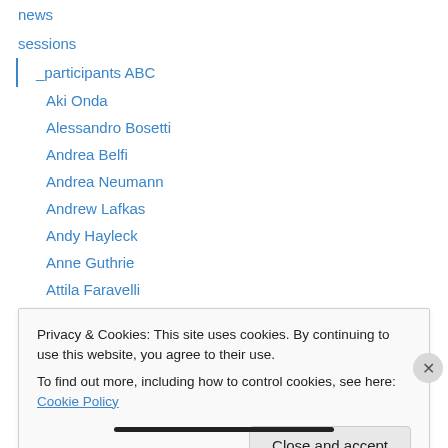news
sessions
_participants ABC
Aki Onda
Alessandro Bosetti
Andrea Belfi
Andrea Neumann
Andrew Lafkas
Andy Hayleck
Anne Guthrie
Attila Faravelli
Audrey Chen
Barry Chabala
Privacy & Cookies: This site uses cookies. By continuing to use this website, you agree to their use.
To find out more, including how to control cookies, see here: Cookie Policy